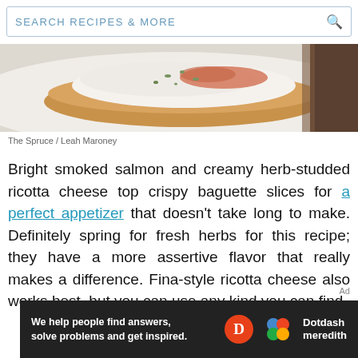SEARCH RECIPES & MORE
[Figure (photo): Close-up photo of smoked salmon and herb-studded ricotta cheese on a crispy baguette slice, on a white plate with a dark brown wooden surface at the right edge.]
The Spruce / Leah Maroney
Bright smoked salmon and creamy herb-studded ricotta cheese top crispy baguette slices for a perfect appetizer that doesn't take long to make. Definitely spring for fresh herbs for this recipe; they have a more assertive flavor that really makes a difference. Fina-style ricotta cheese also works best, but you can use any kind you can find.
[Figure (other): Dotdash Meredith advertisement banner. Text: 'We help people find answers, solve problems and get inspired.' with Dotdash Meredith logo.]